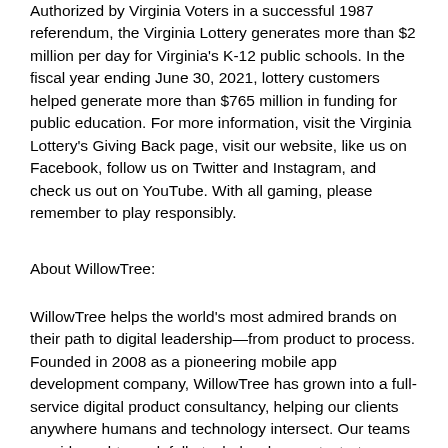Authorized by Virginia Voters in a successful 1987 referendum, the Virginia Lottery generates more than $2 million per day for Virginia's K-12 public schools. In the fiscal year ending June 30, 2021, lottery customers helped generate more than $765 million in funding for public education. For more information, visit the Virginia Lottery's Giving Back page, visit our website, like us on Facebook, follow us on Twitter and Instagram, and check us out on YouTube. With all gaming, please remember to play responsibly.
About WillowTree:
WillowTree helps the world's most admired brands on their path to digital leadership—from product to process. Founded in 2008 as a pioneering mobile app development company, WillowTree has grown into a full-service digital product consultancy, helping our clients anywhere humans and technology intersect. Our teams provide end-to-end, full-stack development, strategy, design, and growth marketing services. Select